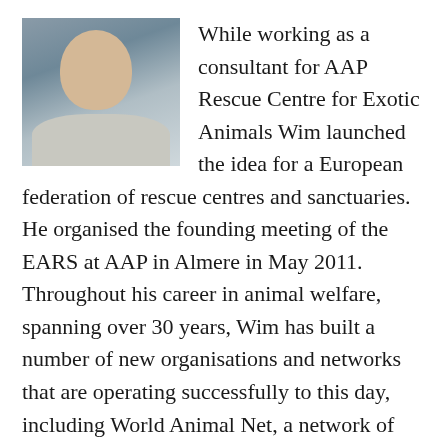[Figure (photo): Headshot photograph of a man with short blond hair, light complexion, wearing a light-colored shirt, with a blurred background.]
While working as a consultant for AAP Rescue Centre for Exotic Animals Wim launched the idea for a European federation of rescue centres and sanctuaries. He organised the founding meeting of the EARS at AAP in Almere in May 2011. Throughout his career in animal welfare, spanning over 30 years, Wim has built a number of new organisations and networks that are operating successfully to this day, including World Animal Net, a network of 17,000 animal welfare groups around the world. Starting his international career with the No FUR campaign of the WSPA, Wim is now a board member of